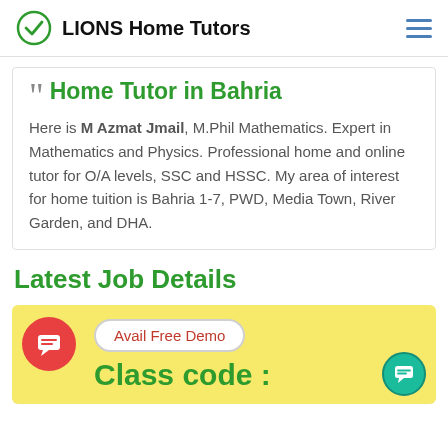LIONS Home Tutors
Home Tutor in Bahria
Here is M Azmat Jmail, M.Phil Mathematics. Expert in Mathematics and Physics. Professional home and online tutor for O/A levels, SSC and HSSC. My area of interest for home tuition is Bahria 1-7, PWD, Media Town, River Garden, and DHA.
Latest Job Details
[Figure (infographic): Yellow banner with red chat bubble icon on left, white rounded button reading 'Avail Free Demo' in red text, and green bold text reading 'Class code :' below. Teal chat button on bottom right.]